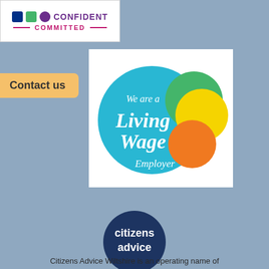[Figure (logo): Disability Confident Committed logo with purple, blue and green squares/circles and magenta 'COMMITTED' text]
Contact us
[Figure (logo): We are a Living Wage Employer logo with teal circle, green, yellow and orange overlapping circles]
[Figure (logo): Citizens Advice logo - dark blue speech bubble with 'citizens advice' text in white]
Citizens Advice Wiltshire is an operating name of